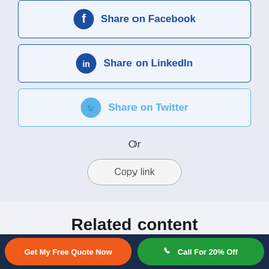[Figure (screenshot): Share on Facebook button with Facebook icon]
[Figure (screenshot): Share on LinkedIn button with LinkedIn icon]
[Figure (screenshot): Share on Twitter button with Twitter icon]
Or
Copy link
Related content
Discounts and specials →
Get My Free Quote Now
Call For 20% Off